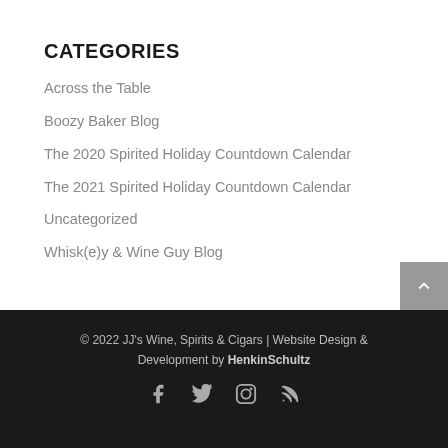CATEGORIES
Across the Table
Boozy Baker Blog
The 2020 Spirited Holiday Countdown Calendar
The 2021 Spirited Holiday Countdown Calendar
Uncategorized
Whisk(e)y & Wine Guy Blog
© 2022 JJ's Wine, Spirits & Cigars | Website Design & Development by HenkinSchultz